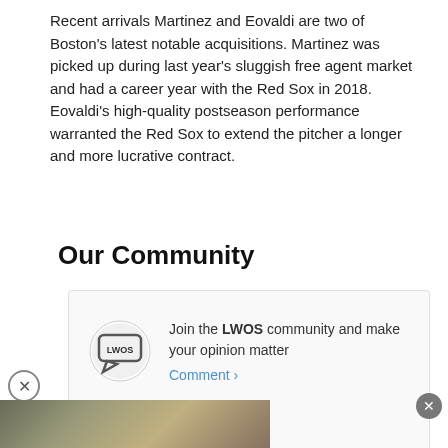Recent arrivals Martinez and Eovaldi are two of Boston's latest notable acquisitions. Martinez was picked up during last year's sluggish free agent market and had a career year with the Red Sox in 2018. Eovaldi's high-quality postseason performance warranted the Red Sox to extend the pitcher a longer and more lucrative contract.
Our Community
[Figure (other): Community widget box containing LWOS logo, text 'Join the LWOS community and make your opinion matter', and a Comment link button]
[Figure (photo): Partial photo strip showing baseball players, partially obscured by overlay]